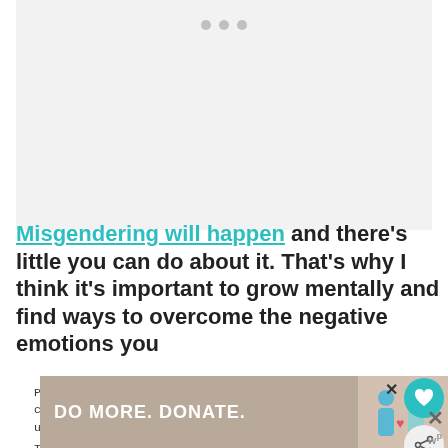[Figure (photo): Gray placeholder image area with three dots at top center indicating a loading or carousel image]
Misgendering will happen and there’s little you can do about it. That’s why I think it’s important to grow mentally and find ways to overcome the negative emotions you
Privacy & Cookies: This site uses cookies. By continuing to use this website, you agree to their use.
To find out more, including how to control cookies, see here:
Cookie Policy
[Figure (infographic): Advertisement banner reading DO MORE. DONATE. with an illustration of two people]